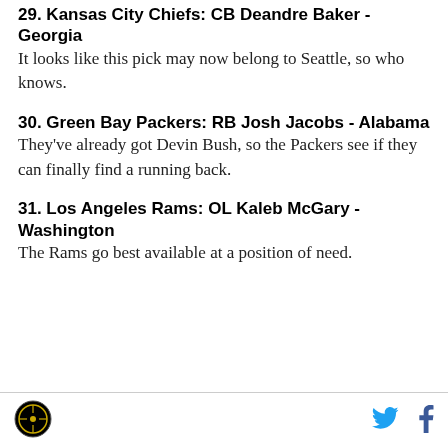29. Kansas City Chiefs: CB Deandre Baker - Georgia
It looks like this pick may now belong to Seattle, so who knows.
30. Green Bay Packers: RB Josh Jacobs - Alabama
They've already got Devin Bush, so the Packers see if they can finally find a running back.
31. Los Angeles Rams: OL Kaleb McGary - Washington
The Rams go best available at a position of need.
[Figure (logo): Circular black logo with yellow/gold design in footer]
[Figure (logo): Twitter bird icon in cyan/blue]
[Figure (logo): Facebook f icon in dark blue]